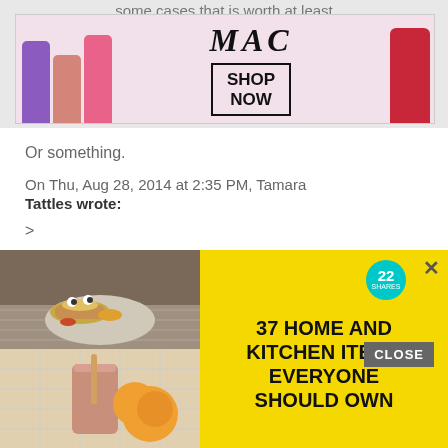some cases that is worth at least
[Figure (photo): MAC Cosmetics advertisement banner showing lipsticks in purple, pink, and red colors with MAC logo and SHOP NOW button]
Or something.
On Thu, Aug 28, 2014 at 2:35 PM, Tamara Tattles wrote:
>
Reply
Urethra Franklin says
August 28, 2014 at 4:2…
[Figure (photo): Bottom advertisement: '37 HOME AND KITCHEN ITEMS EVERYONE SHOULD OWN' on yellow background with food and drink photos]
CLOSE